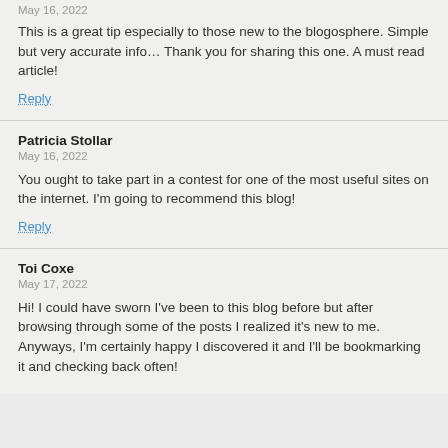May 16, 2022
This is a great tip especially to those new to the blogosphere. Simple but very accurate info… Thank you for sharing this one. A must read article!
Reply
Patricia Stollar
May 16, 2022
You ought to take part in a contest for one of the most useful sites on the internet. I'm going to recommend this blog!
Reply
Toi Coxe
May 17, 2022
Hi! I could have sworn I've been to this blog before but after browsing through some of the posts I realized it's new to me. Anyways, I'm certainly happy I discovered it and I'll be bookmarking it and checking back often!